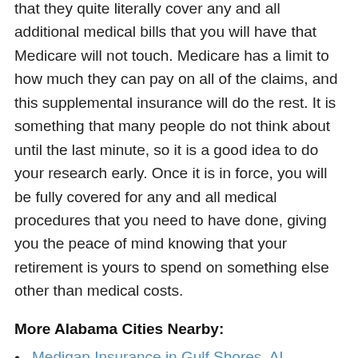that they quite literally cover any and all additional medical bills that you will have that Medicare will not touch. Medicare has a limit to how much they can pay on all of the claims, and this supplemental insurance will do the rest. It is something that many people do not think about until the last minute, so it is a good idea to do your research early. Once it is in force, you will be fully covered for any and all medical procedures that you need to have done, giving you the peace of mind knowing that your retirement is yours to spend on something else other than medical costs.
More Alabama Cities Nearby:
Medigap Insurance in Gulf Shores, AL
Medigap Insurance in Buhl, AL